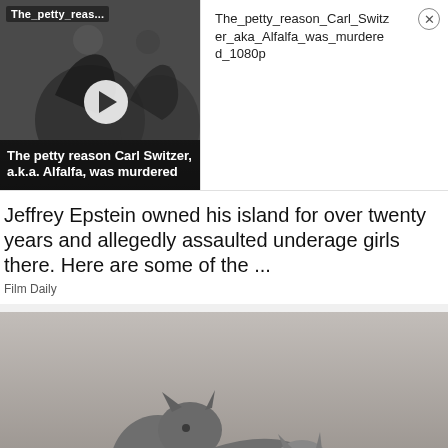[Figure (screenshot): Video thumbnail showing 'The petty reason Carl Switzer, a.k.a. Alfalfa, was murdered' with play button and silhouetted figures]
The_petty_reason_Carl_Switzer_aka_Alfalfa_was_murdered_1080p
Jeffrey Epstein owned his island for over twenty years and allegedly assaulted underage girls there. Here are some of the ...
Film Daily
[Figure (photo): Two grey and white cats facing each other; one cat is pawing at the other cat's head]